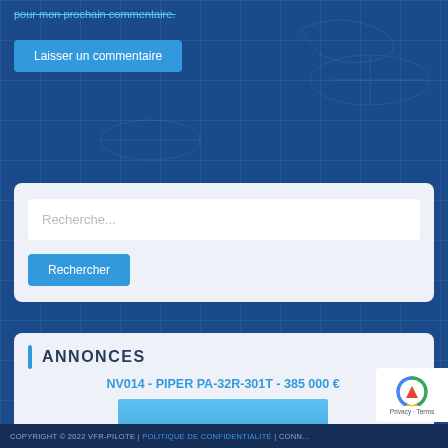pour mon prochain commentaire.
Laisser un commentaire
Recherche...
Rechercher
ANNONCES
NV014 - PIPER PA-32R-301T - 385 000 €
[Figure (photo): Photo of a Piper PA-32R-301T aircraft on ground, blue sky background]
COPYRIGHT © 2022 VFR-PILOTE | POLITIQUE DE CONFIDENTIALITÉ | CONN...